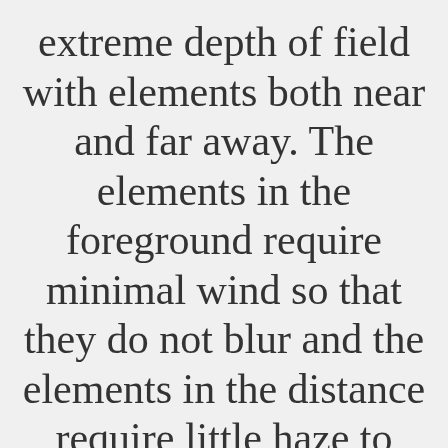extreme depth of field with elements both near and far away. The elements in the foreground require minimal wind so that they do not blur and the elements in the distance require little haze to